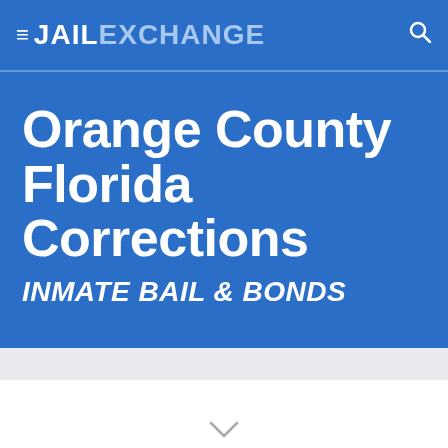≡ JAILEXCHANGE 🔍
Orange County Florida Corrections
INMATE BAIL & BONDS